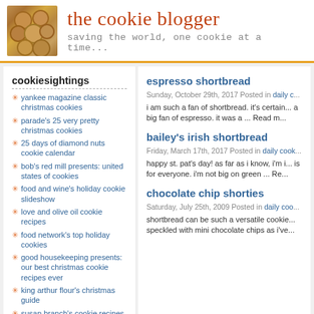the cookie blogger — saving the world, one cookie at a time...
cookiesightings
yankee magazine classic christmas cookies
parade's 25 very pretty christmas cookies
25 days of diamond nuts cookie calendar
bob's red mill presents: united states of cookies
food and wine's holiday cookie slideshow
love and olive oil cookie recipes
food network's top holiday cookies
good housekeeping presents: our best christmas cookie recipes ever
king arthur flour's christmas guide
susan branch's cookie recipes
cookie links
espresso shortbread
Sunday, October 29th, 2017 Posted in daily c...
i am such a fan of shortbread. it's certain... a big fan of espresso. it was a ... Read m...
bailey's irish shortbread
Friday, March 17th, 2017 Posted in daily cook...
happy st. pat's day! as far as i know, i'm i... is for everyone. i'm not big on green ... Re...
chocolate chip shorties
Saturday, July 25th, 2009 Posted in daily coo...
shortbread can be such a versatile cookie... speckled with mini chocolate chips as i've...